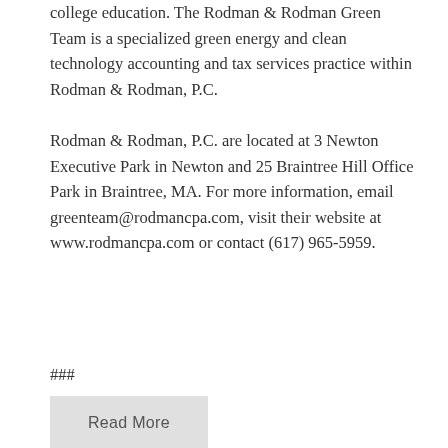college education. The Rodman & Rodman Green Team is a specialized green energy and clean technology accounting and tax services practice within Rodman & Rodman, P.C.
Rodman & Rodman, P.C. are located at 3 Newton Executive Park in Newton and 25 Braintree Hill Office Park in Braintree, MA. For more information, email greenteam@rodmancpa.com, visit their website at www.rodmancpa.com or contact (617) 965-5959.
###
Read More